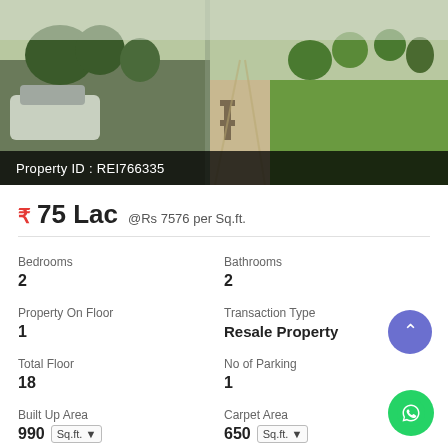[Figure (photo): Exterior photo of a residential property/apartment complex with vehicles parked, a walkway, lawn area, and trees visible in the background.]
Property ID : REI766335
₹ 75 Lac  @Rs 7576 per Sq.ft.
Bedrooms
2
Bathrooms
2
Property On Floor
1
Transaction Type
Resale Property
Total Floor
18
No of Parking
1
Built Up Area
990  Sq.ft. ▼
Carpet Area
650  Sq.ft. ▼
Property Ty...